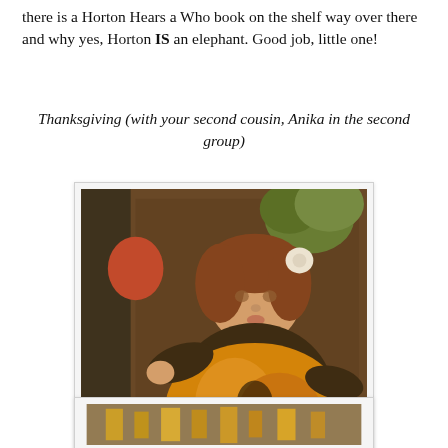there is a Horton Hears a Who book on the shelf way over there and why yes, Horton IS an elephant. Good job, little one!
Thanksgiving (with your second cousin, Anika in the second group)
[Figure (photo): A baby girl sitting on a patterned armchair, wearing a brown and orange outfit with a flower headband, with plants visible in the background.]
[Figure (photo): Partially visible bottom photo, appears to show some yellow/golden decorative objects.]